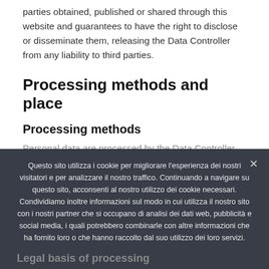parties obtained, published or shared through this website and guarantees to have the right to disclose or disseminate them, releasing the Data Controller from any liability to third parties.
Processing methods and place
Processing methods
Personal data are processed by the Data Controller and
[Figure (other): Cookie consent overlay with Italian text about cookie usage, with 'Accetta tutti i cookie' and 'Cookie policy' buttons, and an X close button.]
Legal basis of processing
In compliance with...